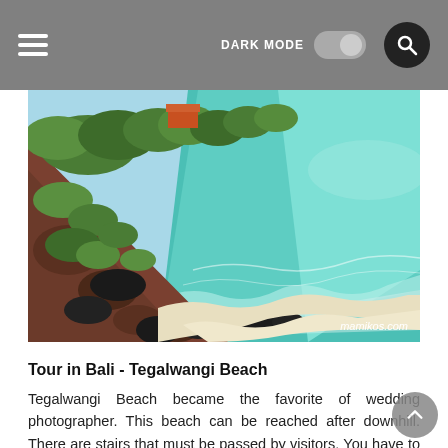DARK MODE [toggle] [search]
[Figure (photo): Aerial/elevated view of Tegalwangi Beach in Bali, showing rocky cliffs with lush green vegetation on the left, a narrow white sandy beach in the middle, and turquoise/teal ocean water on the right. Watermark reads mamikos.com]
Tour in Bali - Tegalwangi Beach
Tegalwangi Beach became the favorite of wedding photographer. This beach can be reached after downhill. There are stairs that must be passed by visitors. You have to be careful when down. This white sandy orphanage can relieve fatigue. Beautiful scenery lies in